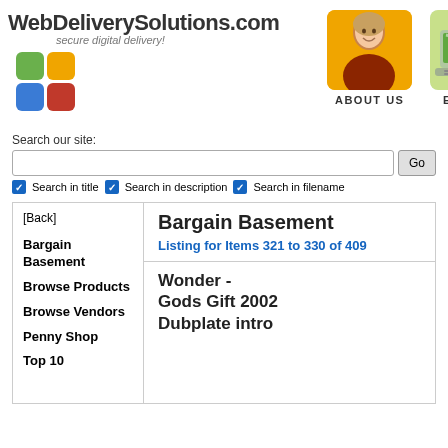[Figure (logo): WebDeliverySolutions.com logo with colored square grid icon and tagline 'secure digital delivery!']
[Figure (photo): About Us navigation image showing a smiling woman on orange background]
[Figure (photo): E-Store navigation image showing a laptop on green background]
Search our site:
Search in title   Search in description   Search in filename
| [Back] | Bargain Basement |
| Bargain Basement | Listing for Items 321 to 330 of 409 |
| Browse Products | Wonder - Gods Gift 2002 Dubplate intro |
| Browse Vendors |  |
| Penny Shop |  |
| Top 10 |  |